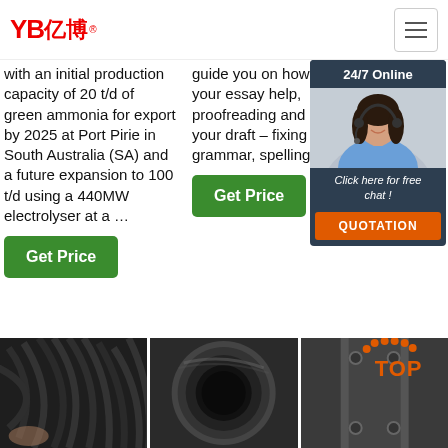YB亿博® [logo] [hamburger menu]
with an initial production capacity of 20 t/d of green ammonia for export by 2025 at Port Pirie in South Australia (SA) and a future expansion to 100 t/d using a 440MW electrolyser at a …
guide you on how to place your essay help, proofreading and editing your draft – fixing the grammar, spelling, or …
[Figure (photo): 24/7 Online chat widget with a woman wearing a headset, dark background with 'Click here for free chat!' and QUOTATION button]
Get Price
Get Price
[Figure (photo): Close-up photo of bundled black cables/wires]
[Figure (photo): Close-up photo of a round pipe/hose opening viewed from the front]
[Figure (photo): Metal component with TOP icon overlay showing back-to-top button]